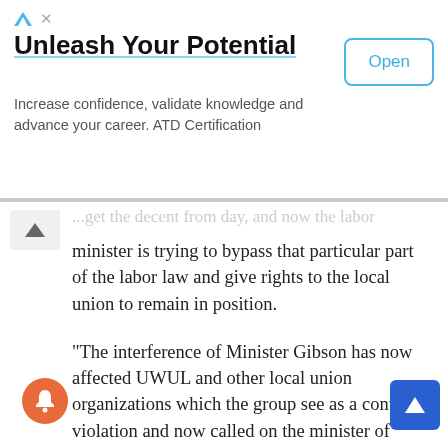[Figure (other): Advertisement banner: 'Unleash Your Potential – Increase confidence, validate knowledge and advance your career. ATD Certification' with an Open button]
minister is trying to bypass that particular part of the labor law and give rights to the local union to remain in position.
“The interference of Minister Gibson has now affected UWUL and other local union organizations which the group see as a continue violation and now called on the minister of labor to desist from these kinds of acts”.
He further said that they have flagged the labor issues faced in Liberia to the highest international labor organization in the world concerning